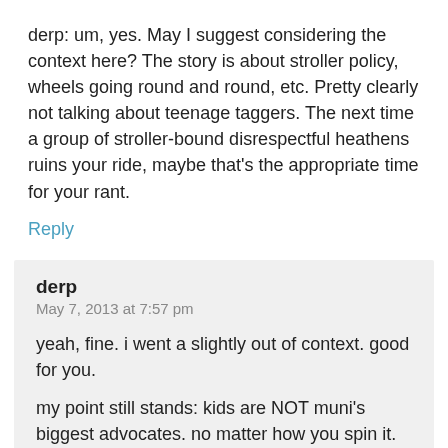derp: um, yes. May I suggest considering the context here? The story is about stroller policy, wheels going round and round, etc. Pretty clearly not talking about teenage taggers. The next time a group of stroller-bound disrespectful heathens ruins your ride, maybe that's the appropriate time for your rant.
Reply
derp
May 7, 2013 at 7:57 pm
yeah, fine. i went a slightly out of context. good for you.
my point still stands: kids are NOT muni's biggest advocates. no matter how you spin it.
Reply